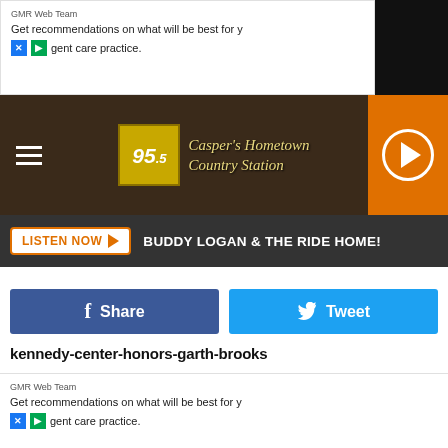GMR Web Team
Get recommendations on what will be best for y
gent care practice.
[Figure (screenshot): 95.5 FM radio station logo and nav bar: '95.5 Casper's Hometown Country Station' with hamburger menu and orange play button]
LISTEN NOW ▶   BUDDY LOGAN & THE RIDE HOME!
[Figure (screenshot): Facebook Share and Twitter Tweet social sharing buttons]
kennedy-center-honors-garth-brooks
[Figure (photo): Close-up photo of a person with blonde hair holding a yellow sequined or beaded fabric item, with left and right navigation arrows]
GMR Web Team
Get recommendations on what will be best for y
gent care practice.